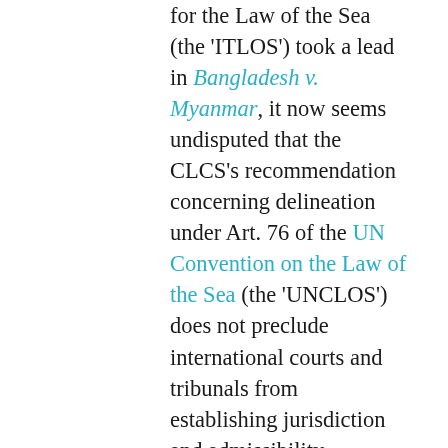for the Law of the Sea (the 'ITLOS') took a lead in Bangladesh v. Myanmar, it now seems undisputed that the CLCS's recommendation concerning delineation under Art. 76 of the UN Convention on the Law of the Sea (the 'UNCLOS') does not preclude international courts and tribunals from establishing jurisdiction and admissibility concerning delimitation under Art. 83 of the UNCLOS. As repeatedly confirmed by the ICJ, 'the lack of delineation of the outer limit of the continental shelf is not, in and of itself, an impediment to its delimitation between two States with adjacent coasts' (at [189]). However, two observations still